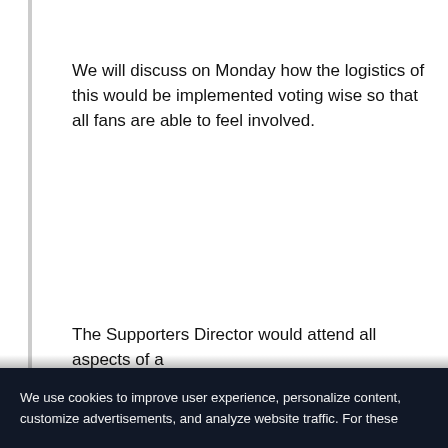We will discuss on Monday how the logistics of this would be implemented voting wise so that all fans are able to feel involved.
The Supporters Director would attend all aspects of a board meeting with commitments and advice...
We use cookies to improve user experience, personalize content, customize advertisements, and analyze website traffic. For these reasons, we may share your site usage data with our advertising and analytics partners. By clicking “Accept,” you agree to store on your device all the technologies described in our Cookie Policy. You can change your cookie settings at any time by clicking “Preferences.”